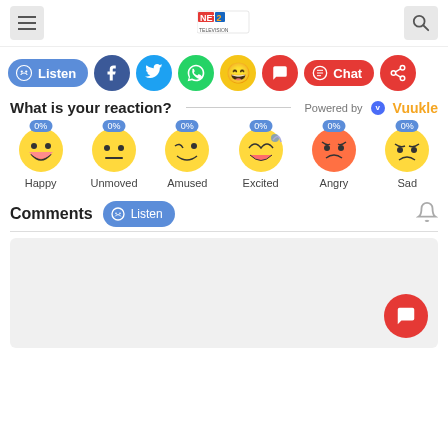NET2 Television header with menu, logo, and search
Listen | Facebook | Twitter | WhatsApp | Emoji | Comment | Chat | Share
What is your reaction? Powered by Vuukle
[Figure (infographic): Six emoji reaction buttons each showing 0%: Happy, Unmoved, Amused, Excited, Angry, Sad]
Comments Listen
[Figure (screenshot): Comments input area with floating red comment button]